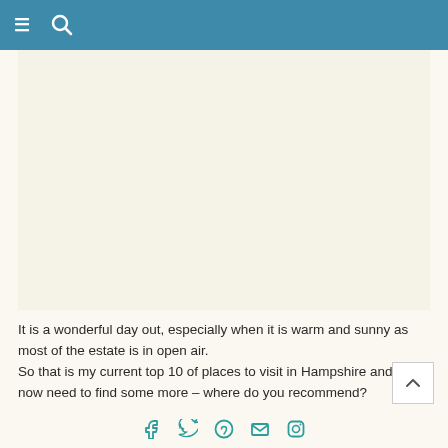≡ 🔍
[Figure (other): Advertisement or image placeholder area with cream/beige background]
It is a wonderful day out, especially when it is warm and sunny as most of the estate is in open air.
So that is my current top 10 of places to visit in Hampshire and now need to find some more – where do you recommend?
[Figure (other): Social media share icons: Facebook, Twitter, Pinterest, Email, Instagram]